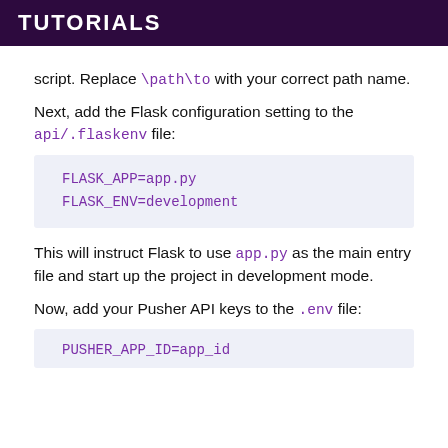TUTORIALS
script. Replace \path\to with your correct path name.
Next, add the Flask configuration setting to the api/.flaskenv file:
FLASK_APP=app.py
FLASK_ENV=development
This will instruct Flask to use app.py as the main entry file and start up the project in development mode.
Now, add your Pusher API keys to the .env file:
PUSHER_APP_ID=app_id